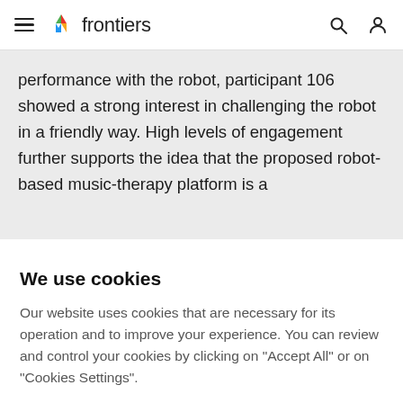frontiers
performance with the robot, participant 106 showed a strong interest in challenging the robot in a friendly way. High levels of engagement further supports the idea that the proposed robot-based music-therapy platform is a
We use cookies
Our website uses cookies that are necessary for its operation and to improve your experience. You can review and control your cookies by clicking on "Accept All" or on "Cookies Settings".
Accept Cookies
Cookies Settings